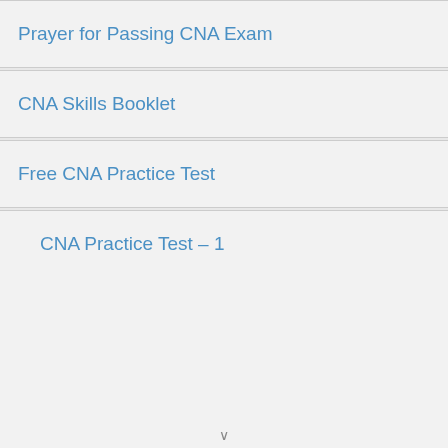Prayer for Passing CNA Exam
CNA Skills Booklet
Free CNA Practice Test
CNA Practice Test – 1